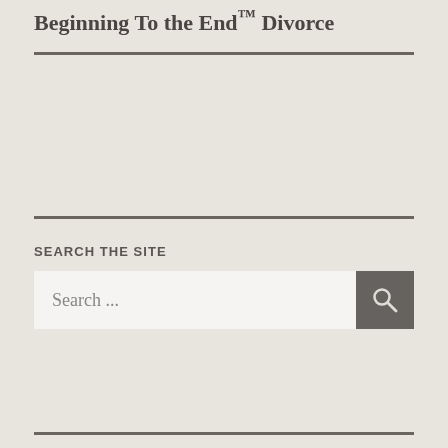Beginning To the End™ Divorce
SEARCH THE SITE
Search ...